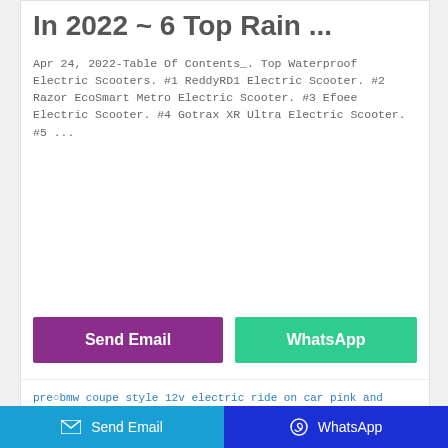In 2022 ~ 6 Top Rain ...
Apr 24, 2022-Table Of Contents_. Top Waterproof Electric Scooters. #1 ReddyRD1 Electric Scooter. #2 Razor EcoSmart Metro Electric Scooter. #3 Efoee Electric Scooter. #4 Gotrax XR Ultra Electric Scooter. #5 ...
[Figure (other): Blank white space area (advertisement or image placeholder)]
Send Email
WhatsApp
pre○bmw coupe style 12v electric ride on car pink and white for dogs picturesnext○12v pink audi r8 spyder official ride on car for sale
Related Posts
best deals on 12 volt ride on toys grave digger
electric ride on car toys r us coming back 2021
Send Email
WhatsApp